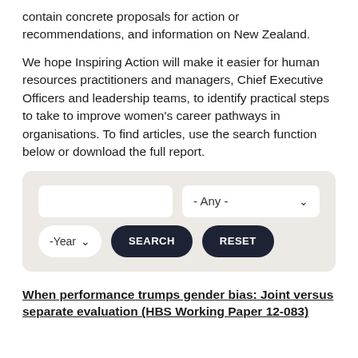contain concrete proposals for action or recommendations, and information on New Zealand.
We hope Inspiring Action will make it easier for human resources practitioners and managers, Chief Executive Officers and leadership teams, to identify practical steps to take to improve women's career pathways in organisations. To find articles, use the search function below or download the full report.
[Figure (screenshot): Search interface with a text input field, a dropdown labeled '- Any -', a year dropdown labeled '-Year', a SEARCH button, and a RESET button, all on a light beige/tan background panel.]
When performance trumps gender bias: Joint versus separate evaluation (HBS Working Paper 12-083)